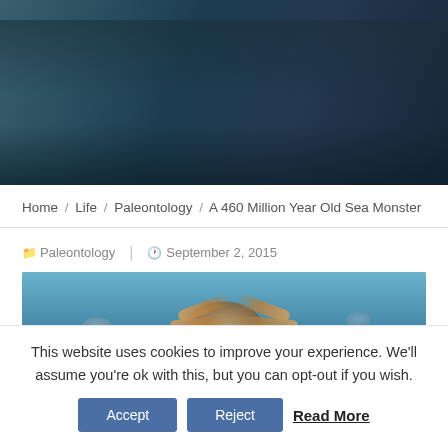[Figure (photo): Dark teal/navy underwater hero image at the top of the page]
Home / Life / Paleontology / A 460 Million Year Old Sea Monster
Paleontology | September 2, 2015
[Figure (illustration): Illustration of an ancient sea creature (anomalocarid-like) with feathery appendages viewed from the front, underwater scene with blue background]
This website uses cookies to improve your experience. We'll assume you're ok with this, but you can opt-out if you wish.
Accept   Reject   Read More